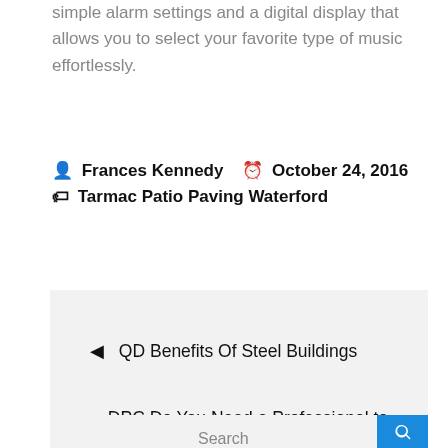simple alarm settings and a digital display that allows you to select your favorite type of music effortlessly.
Frances Kennedy   October 24, 2016   Tarmac Patio Paving Waterford
◄ QD Benefits Of Steel Buildings
DPC Do You Need a Professional to Remodel Your Kitchen? ►
Search